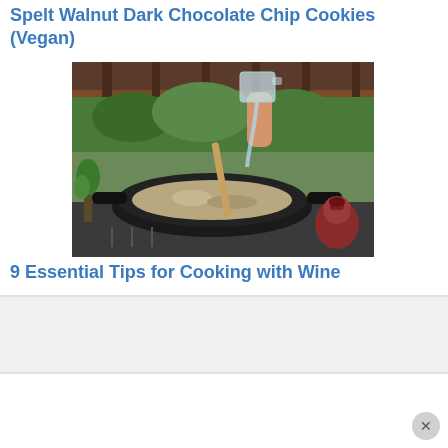Spelt Walnut Dark Chocolate Chip Cookies (Vegan)
[Figure (photo): Photo of a wok pan on a stove with rice or grain being cooked, a wooden spoon stirring, and a hand pouring liquid from a glass measuring cup. Red pepper mill visible to the right. Outdoor wooden railing and green foliage in the background.]
9 Essential Tips for Cooking with Wine